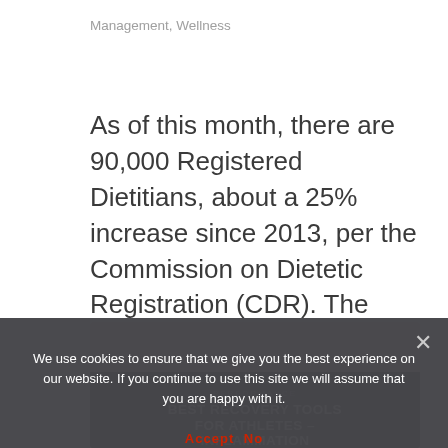Management, Wellness
As of this month, there are 90,000 Registered Dietitians, about a 25% increase since 2013, per the Commission on Dietetic Registration (CDR). The field is growing, and more individuals are seeking the credentials more than ever, but what makes it so attractive? Who...
[Figure (photo): Partially visible card image strip with pink/rose background, showing a fitness/recovery article card with dark overlay text reading 'BEST RECOVERY TOOLS FOR ATHLETES – INFLAMMATION']
We use cookies to ensure that we give you the best experience on our website. If you continue to use this site we will assume that you are happy with it.
Accept No